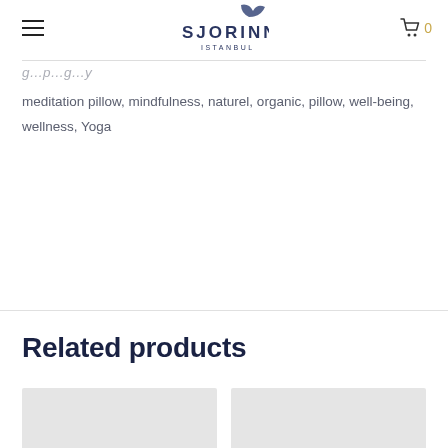SJORINN ISTANBUL
meditation pillow, mindfulness, naturel, organic, pillow, well-being, wellness, Yoga
Related products
[Figure (other): Two product placeholder cards (light gray rectangles) in a two-column grid under Related products section]